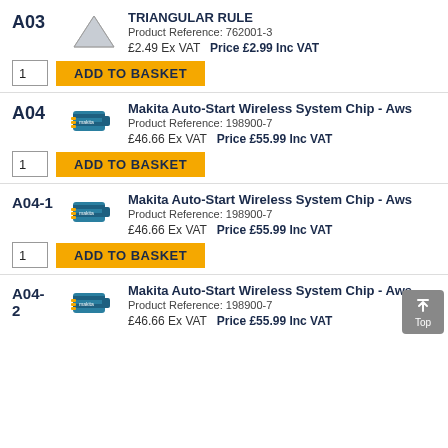A03
[Figure (illustration): Triangular rule / scale ruler product image - gray triangle shape]
TRIANGULAR RULE
Product Reference: 762001-3
£2.49 Ex VAT   Price £2.99 Inc VAT
1   ADD TO BASKET
A04
[Figure (illustration): Makita AWS chip - small teal/blue electronic chip]
Makita Auto-Start Wireless System Chip - Aws
Product Reference: 198900-7
£46.66 Ex VAT   Price £55.99 Inc VAT
1   ADD TO BASKET
A04-1
[Figure (illustration): Makita AWS chip - small teal/blue electronic chip]
Makita Auto-Start Wireless System Chip - Aws
Product Reference: 198900-7
£46.66 Ex VAT   Price £55.99 Inc VAT
1   ADD TO BASKET
A04-2
[Figure (illustration): Makita AWS chip - small teal/blue electronic chip]
Makita Auto-Start Wireless System Chip - Aws
Product Reference: 198900-7
£46.66 Ex VAT   Price £55.99 Inc VAT